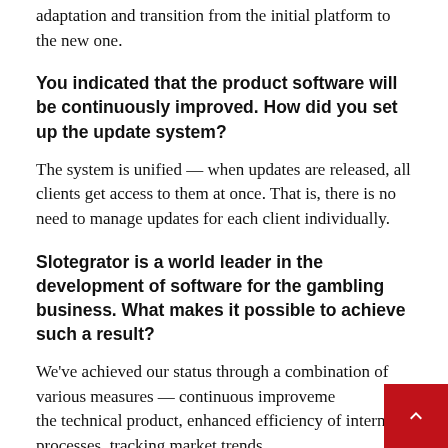adaptation and transition from the initial platform to the new one.
You indicated that the product software will be continuously improved. How did you set up the update system?
The system is unified — when updates are released, all clients get access to them at once. That is, there is no need to manage updates for each client individually.
Slotegrator is a world leader in the development of software for the gambling business. What makes it possible to achieve such a result?
We've achieved our status through a combination of various measures — continuous improvement of the technical product, enhanced efficiency of internal processes, tracking market trends